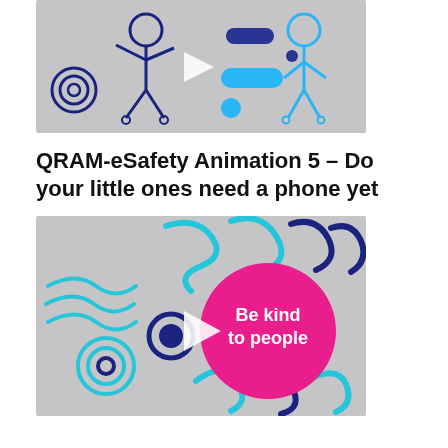[Figure (screenshot): Video thumbnail showing animated stick figures with dark blue and light blue colors on a grey background, with a play button overlay. Part of QRAM eSafety animation series.]
QRAM-eSafety Animation 5 – Do your little ones need a phone yet
[Figure (screenshot): Video thumbnail showing animation with colorful swirling shapes in teal and dark blue on grey background, with a pink circle in the center reading 'Be kind to people' and a white play button overlay.]